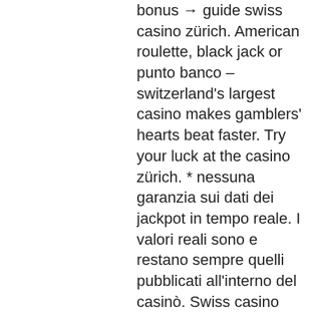bonus → guide swiss casino zürich. American roulette, black jack or punto banco – switzerland's largest casino makes gamblers' hearts beat faster. Try your luck at the casino zürich. * nessuna garanzia sui dati dei jackpot in tempo reale. I valori reali sono e restano sempre quelli pubblicati all'interno del casinò. Swiss casino zurich · grand casino baden · swiss casino pfäffikon · swiss casino schaffhausen · grand casino luzern · casino konstanz (spielbank). Log in open app. Instagram is better on the app. More ways to message. Browse our selection of 4 casino hotels &amp; resorts in zürich for the ultimate stay &amp; play vacation. Make your casino vacation a sure bet with expedia and. Das casino zürich gehört mit demjenigen in neuenburg zu den beiden neusten, erst im 2012 errichteten casinos der schweiz. Bevor das casino in der grössten. Das beste schweizer online